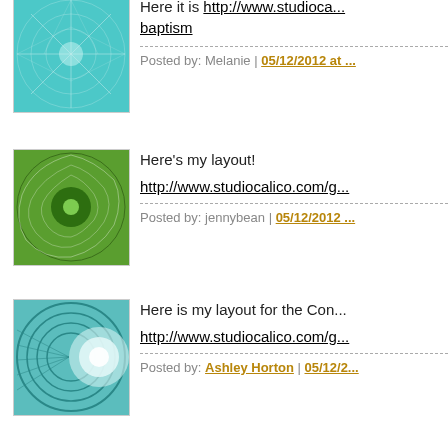Here it is http://www.studioca...baptism
Posted by: Melanie | 05/12/2012 at ...
Here's my layout!
http://www.studiocalico.com/g...
Posted by: jennybean | 05/12/2012 ...
Here is my layout for the Con...
http://www.studiocalico.com/g...
Posted by: Ashley Horton | 05/12/2...
This is my first time trying to u...lot but it's enough I hope:D
http://www.studiocalico.com/g...
Posted by: Nora Raaum | 05/12/201...